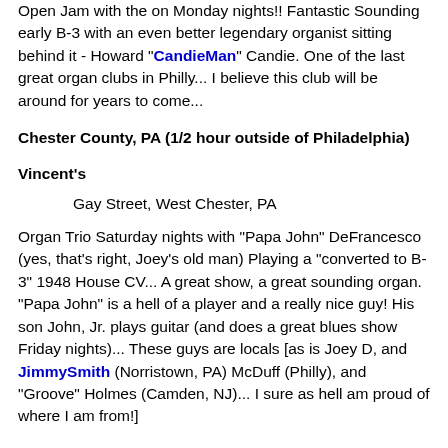Open Jam with the on Monday nights!! Fantastic Sounding early B-3 with an even better legendary organist sitting behind it - Howard "CandieMan" Candie. One of the last great organ clubs in Philly... I believe this club will be around for years to come...
Chester County, PA (1/2 hour outside of Philadelphia)
Vincent's
Gay Street, West Chester, PA
Organ Trio Saturday nights with "Papa John" DeFrancesco (yes, that's right, Joey's old man) Playing a "converted to B-3" 1948 House CV... A great show, a great sounding organ. "Papa John" is a hell of a player and a really nice guy! His son John, Jr. plays guitar (and does a great blues show Friday nights)... These guys are locals [as is Joey D, and JimmySmith (Norristown, PA) McDuff (Philly), and "Groove" Holmes (Camden, NJ)... I sure as hell am proud of where I am from!]
Lehigh Valley, PA (Allentown, Bethlehem, Easton)